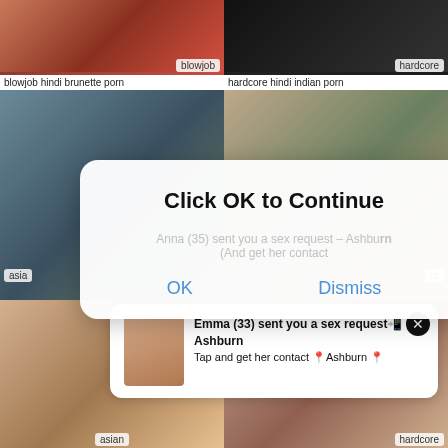[Figure (screenshot): Adult content website screenshot showing video thumbnails grid with modal dialog overlay saying 'Click OK to Continue' with OK and Dismiss buttons, and a notification popup from 'Emma (33) sent you a sex request']
blowjob hindi brunette porn
hardcore hindi indian porn
Click OK to Continue
Anna (35) sent you a sex request – Ashburn (And get her contact
Emma (33) sent you a sex request Ashburn
Tap and get her contact Ashburn
asian
hardcore